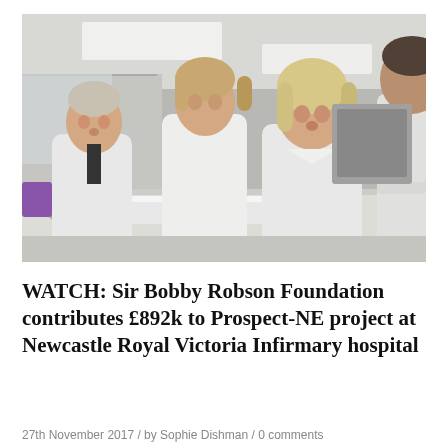[Figure (photo): Four people in white lab coats standing around a white table in a clinical/laboratory room with fluorescent ceiling lights. Three women and one man are visible. A white container sits on the table.]
WATCH: Sir Bobby Robson Foundation contributes £892k to Prospect-NE project at Newcastle Royal Victoria Infirmary hospital
27th November 2017 / by Sophie Dishman / 0 comments